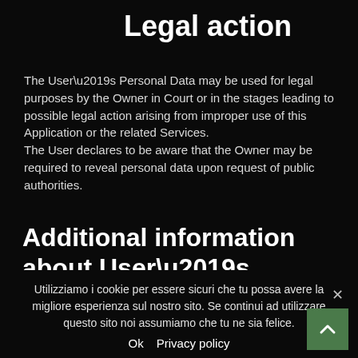Legal action
The User’s Personal Data may be used for legal purposes by the Owner in Court or in the stages leading to possible legal action arising from improper use of this Application or the related Services.
The User declares to be aware that the Owner may be required to reveal personal data upon request of public authorities.
Additional information about User’s Personal
Utilizziamo i cookie per essere sicuri che tu possa avere la migliore esperienza sul nostro sito. Se continui ad utilizzare questo sito noi assumiamo che tu ne sia felice.
Ok   Privacy policy